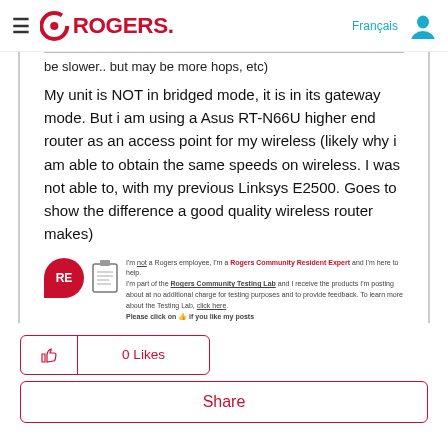Rogers — Français [user icon]
be slower.. but may be more hops, etc)
My unit is NOT in bridged mode, it is in its gateway mode.  But i am using a Asus RT-N66U higher end router as an access point for my wireless (likely why i am able to obtain the same speeds on wireless.   I was not able to, with my previous Linksys E2500.  Goes to show the difference a good quality wireless router makes)
[Figure (logo): Rogers Community Resident Expert badge with RE initials in red speech bubble, notepad icon, and text: I'm not a Rogers employee, I'm a Rogers Community Resident Expert and I'm here to help. I'm part of the Rogers Community Testing Lab and I receive the products I'm posting about at no additional charge for testing purposes and to provide feedback. To learn more about the Testing Lab, click here. Please click on thumbs up if you like my posts.]
0 Likes
Share